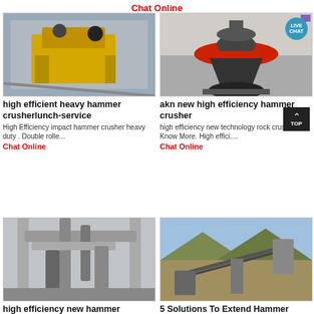Chat Online
[Figure (photo): Industrial yellow jaw crusher machine in a factory setting]
high efficient heavy hammer crusherlunch-service
High Efficiency impact hammer crusher heavy duty . Double rolle...
Chat Online
[Figure (photo): Cone crusher machine closeup with red and black components, LIVE CHAT badge overlay]
akn new high efficiency hammer crusher
high efficiency new technology rock crusher Know More. High effici....
Chat Online
[Figure (photo): Industrial dust collection ducts inside a building]
high efficiency new hammer crusher from china
[Figure (photo): Outdoor mining conveyor and crusher site with mountains in background]
5 Solutions To Extend Hammer Crusher Service